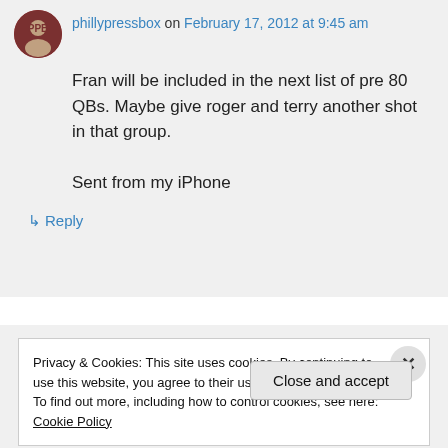phillypressbox on February 17, 2012 at 9:45 am
Fran will be included in the next list of pre 80 QBs. Maybe give roger and terry another shot in that group.

Sent from my iPhone
↳ Reply
Privacy & Cookies: This site uses cookies. By continuing to use this website, you agree to their use.
To find out more, including how to control cookies, see here: Cookie Policy
Close and accept